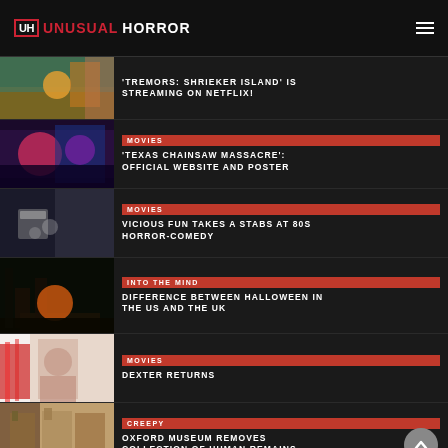UH UNUSUALHORROR
'TREMORS: SHRIEKER ISLAND' IS STREAMING ON NETFLIX!
MOVIES — 'TEXAS CHAINSAW MASSACRE': OFFICIAL WEBSITE AND POSTER
MOVIES — VICIOUS FUN TAKES A STABS AT 80S HORROR-COMEDY
INTO THE MIND — DIFFERENCE BETWEEN HALLOWEEN IN THE US AND THE UK
MOVIES — DEXTER RETURNS
CREEPY — OXFORD MUSEUM REMOVES COLLECTION OF HUMAN REMAINS